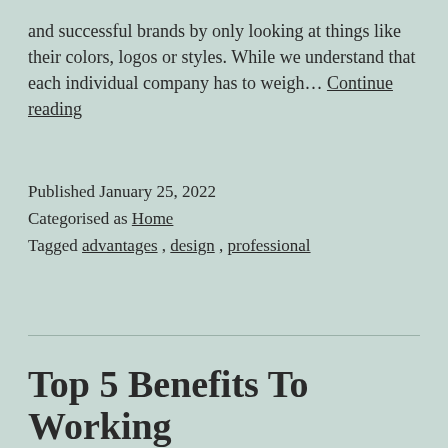and successful brands by only looking at things like their colors, logos or styles. While we understand that each individual company has to weigh… Continue reading
Published January 25, 2022
Categorised as Home
Tagged advantages , design , professional
Top 5 Benefits To Working